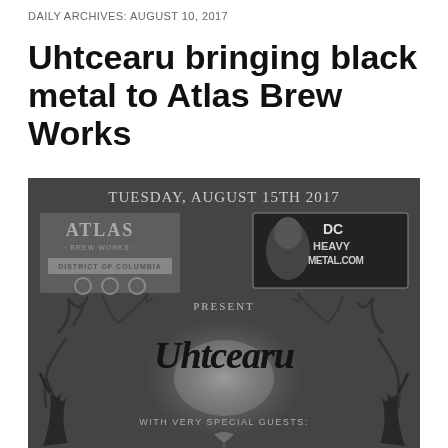DAILY ARCHIVES: AUGUST 10, 2017
Uhtcearu bringing black metal to Atlas Brew Works
[Figure (illustration): Concert event flyer for Uhtcearu at Atlas Brew Works. Shows 'Tuesday, August 15th 2017' at top, Atlas Brew Works logo on left, DC Heavy Metal.com logo on right, 'Present' text, large Uhtcearu band logo in the center with dark atmospheric artwork featuring tree branches, moon, and demonic figures. Text 'With Very Special Guests:' at bottom.]